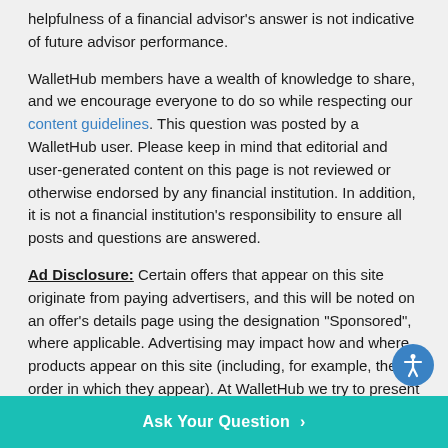helpfulness of a financial advisor's answer is not indicative of future advisor performance.
WalletHub members have a wealth of knowledge to share, and we encourage everyone to do so while respecting our content guidelines. This question was posted by a WalletHub user. Please keep in mind that editorial and user-generated content on this page is not reviewed or otherwise endorsed by any financial institution. In addition, it is not a financial institution's responsibility to ensure all posts and questions are answered.
Ad Disclosure: Certain offers that appear on this site originate from paying advertisers, and this will be noted on an offer's details page using the designation "Sponsored", where applicable. Advertising may impact how and where products appear on this site (including, for example, the order in which they appear). At WalletHub we try to present a wide array of offers, but our offers do not represent all financial services companies or products.
Ask Your Question